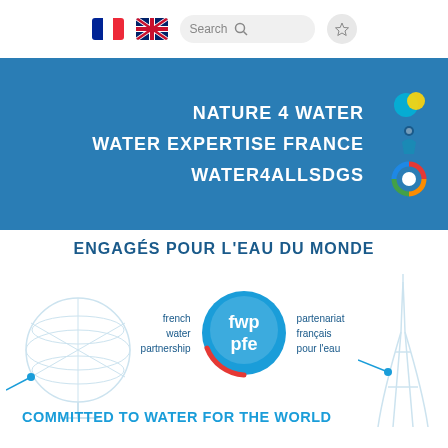[Figure (screenshot): Navigation bar with French flag, UK flag, search box, and favorites star button]
NATURE 4 WATER
WATER EXPERTISE FRANCE
WATER4ALLSDGS
[Figure (logo): Three circular icons representing Nature 4 Water, Water Expertise France, and Water4AllSDGs]
ENGAGÉS POUR L'EAU DU MONDE
[Figure (logo): French Water Partnership / Partenariat Français pour l'eau (fwp pfe) logo with globe illustration and Eiffel Tower illustration]
COMMITTED TO WATER FOR THE WORLD